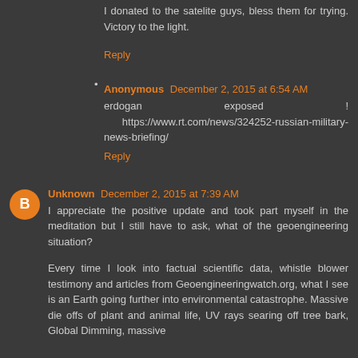I donated to the satelite guys, bless them for trying. Victory to the light.
Reply
Anonymous December 2, 2015 at 6:54 AM
erdogan exposed ! https://www.rt.com/news/324252-russian-military-news-briefing/
Reply
Unknown December 2, 2015 at 7:39 AM
I appreciate the positive update and took part myself in the meditation but I still have to ask, what of the geoengineering situation?
Every time I look into factual scientific data, whistle blower testimony and articles from Geoengineeringwatch.org, what I see is an Earth going further into environmental catastrophe. Massive die offs of plant and animal life, UV rays searing off tree bark, Global Dimming, massive